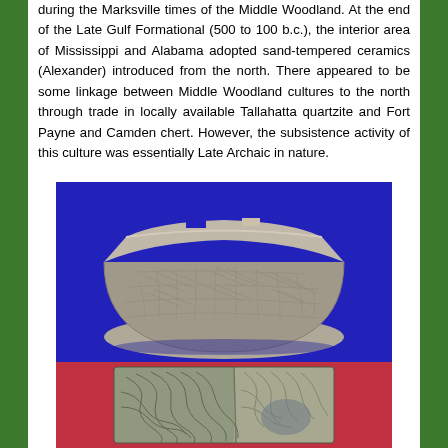during the Marksville times of the Middle Woodland. At the end of the Late Gulf Formational (500 to 100 b.c.), the interior area of Mississippi and Alabama adopted sand-tempered ceramics (Alexander) introduced from the north. There appeared to be some linkage between Middle Woodland cultures to the north through trade in locally available Tallahatta quartzite and Fort Payne and Camden chert. However, the subsistence activity of this culture was essentially Late Archaic in nature.
[Figure (photo): A ceramic bowl with textured surface pattern, photographed against a blue background. The bowl is round with a slightly notched rim, and shows impressed or stamped decorative patterns across its exterior.]
[Figure (photo): A ceramic vessel fragment with curvilinear incised decorative patterns, photographed against a red/pink background. The fragment shows elaborate scrolling or flowing line designs on the exterior surface.]